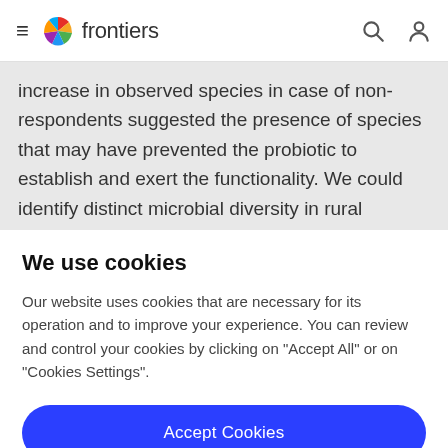frontiers
increase in observed species in case of non-respondents suggested the presence of species that may have prevented the probiotic to establish and exert the functionality. We could identify distinct microbial diversity in rural subjects compared to the urban dwellers
We use cookies
Our website uses cookies that are necessary for its operation and to improve your experience. You can review and control your cookies by clicking on "Accept All" or on "Cookies Settings".
Accept Cookies
Cookies Settings